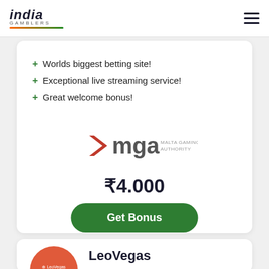india GAMBLERS
+ Worlds biggest betting site!
+ Exceptional live streaming service!
+ Great welcome bonus!
[Figure (logo): MGA Malta Gaming Authority logo]
₹4.000
Get Bonus
LeoVegas
★★★★★ 5.0
LeoVegas Review
+ Huge number of casino games!
+ Best in class mobile experience!